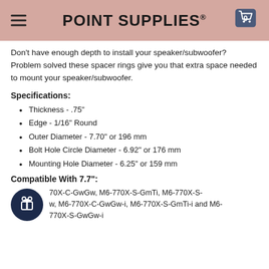POINT SUPPLIES®
Don't have enough depth to install your speaker/subwoofer?  Problem solved these spacer rings give you that extra space needed to mount your speaker/subwoofer.
Specifications:
Thickness - .75"
Edge - 1/16" Round
Outer Diameter - 7.70" or 196 mm
Bolt Hole Circle Diameter - 6.92" or 176 mm
Mounting Hole Diameter - 6.25" or 159 mm
Compatible With 7.7":
M6-770X-C-GwGw, M6-770X-S-GmTi, M6-770X-S-GwGw, M6-770X-C-GwGw-i, M6-770X-S-GmTi-i and M6-770X-S-GwGw-i